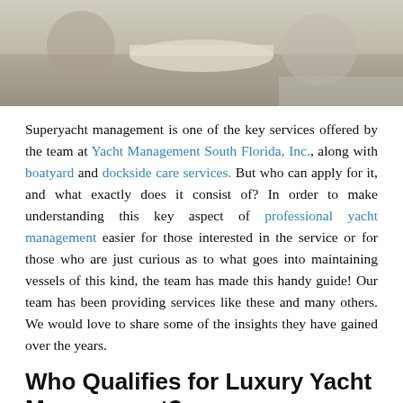[Figure (photo): Cropped photo of people dining on a superyacht deck, outdoor table setting visible]
Superyacht management is one of the key services offered by the team at Yacht Management South Florida, Inc., along with boatyard and dockside care services. But who can apply for it, and what exactly does it consist of? In order to make understanding this key aspect of professional yacht management easier for those interested in the service or for those who are just curious as to what goes into maintaining vessels of this kind, the team has made this handy guide! Our team has been providing services like these and many others. We would love to share some of the insights they have gained over the years.
Who Qualifies for Luxury Yacht Management?
Superyacht management companies are able to provide many essential services to their clients, but who can qualify for these services? In basic terms, anyone who